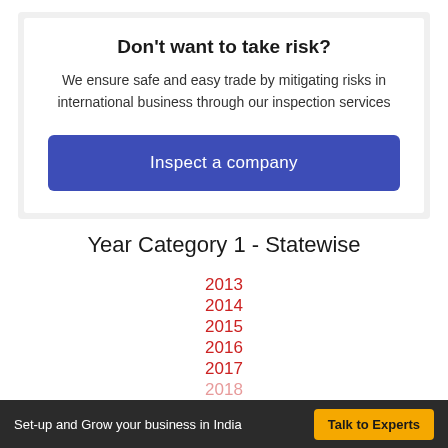Don't want to take risk?
We ensure safe and easy trade by mitigating risks in international business through our inspection services
Inspect a company
Year Category 1 - Statewise
2013
2014
2015
2016
2017
2018
2019
Set-up and Grow your business in India  Talk to Experts